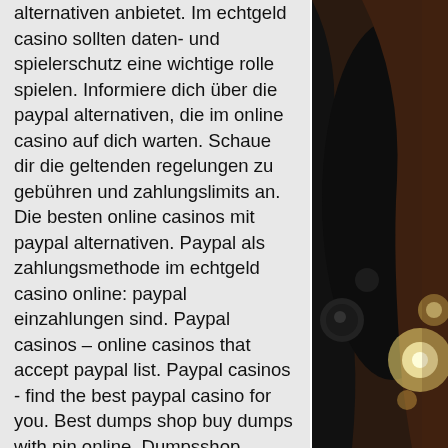alternativen anbietet. Im echtgeld casino sollten daten- und spielerschutz eine wichtige rolle spielen. Informiere dich über die paypal alternativen, die im online casino auf dich warten. Schaue dir die geltenden regelungen zu gebühren und zahlungslimits an. Die besten online casinos mit paypal alternativen. Paypal als zahlungsmethode im echtgeld casino online: paypal einzahlungen sind. Paypal casinos – online casinos that accept paypal list. Paypal casinos - find the best paypal casino for you. Best dumps shop buy dumps with pin online. Dumpsshop cardershop unicc verifeid cardmafia validcvv track12 paypal scans banks nonvbv refund hacked dumps. Top online casinos in der schweiz – paypal casino spiele; paypal casino bonus angebote. Unsere auswahl an online casinos mit paypal schweiz 2022. Best paypal casinos in ireland. So you see that there is a good reason why all the top
[Figure (photo): Dark background photo showing what appears to be casino or musical instrument elements with bokeh lights]